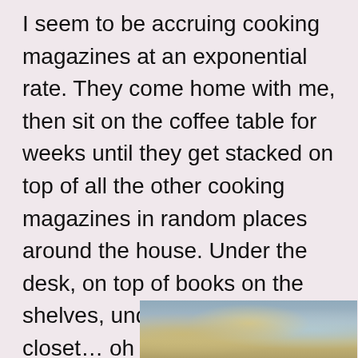I seem to be accruing cooking magazines at an exponential rate. They come home with me, then sit on the coffee table for weeks until they get stacked on top of all the other cooking magazines in random places around the house. Under the desk, on top of books on the shelves, under the bed, in the closet… oh dear. I do flip through and ooh and ahh at the pictures thinking how i'd love to try cooking xyz. Somehow, I never seem to get my act together. Until now…
[Figure (photo): Partial photo of food (possibly bread or pastry) with sky/clouds visible, cropped at bottom of page]